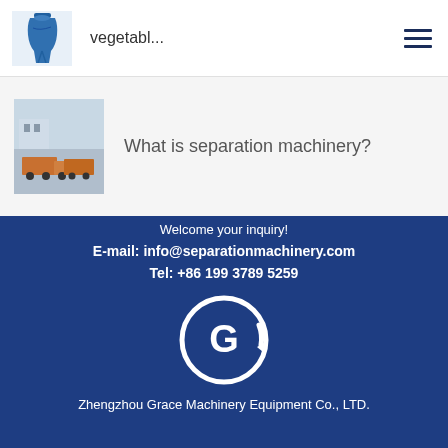[Figure (illustration): Small blue industrial separator machine icon]
vegetabl...
[Figure (photo): Photo of industrial machinery on trucks/loading area outdoors]
What is separation machinery?
Industrial Separation & Filtration Equipment Solution.
Welcome your inquiry!
E-mail: info@separationmachinery.com
Tel: +86 199 3789 5259
[Figure (logo): Circular logo with letter G - Zhengzhou Grace Machinery Equipment Co., LTD.]
Zhengzhou Grace Machinery Equipment Co., LTD.